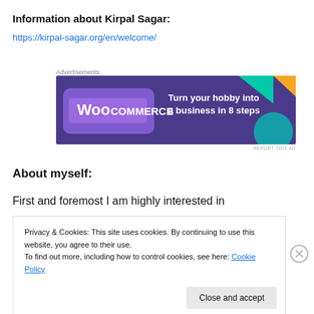Information about Kirpal Sagar:
https://kirpal-sagar.org/en/welcome/
[Figure (advertisement): WooCommerce advertisement banner: 'Turn your hobby into a business in 8 steps']
About myself:
First and foremost I am highly interested in
Privacy & Cookies: This site uses cookies. By continuing to use this website, you agree to their use.
To find out more, including how to control cookies, see here: Cookie Policy
Close and accept